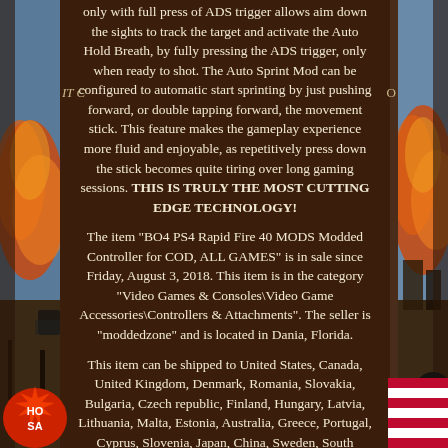[Figure (illustration): Decorative left panel with explosion/fire imagery and dark game-themed background]
[Figure (illustration): Decorative right panel with explosion/fire imagery and dark game-themed background]
only with full press of ADS trigger allows aim down the sights to track the target and activate the Auto Hold Breath, by fully pressing the ADS trigger, only when ready to shot. The Auto Sprint Mod can be configured to automatic start sprinting by just pushing forward, or double tapping forward, the movement stick. This feature makes the gameplay experience more fluid and enjoyable, as repetitively press down the stick becomes quite tiring over long gaming sessions. THIS IS TRULY THE MOST CUTTING EDGE TECHNOLOGY!
The item "BO4 PS4 Rapid Fire 40 MODS Modded Controller for COD, ALL GAMES" is in sale since Friday, August 3, 2018. This item is in the category "Video Games & Consoles\Video Game Accessories\Controllers & Attachments". The seller is "moddedzone" and is located in Dania, Florida.
This item can be shipped to United States, Canada, United Kingdom, Denmark, Romania, Slovakia, Bulgaria, Czech republic, Finland, Hungary, Latvia, Lithuania, Malta, Estonia, Australia, Greece, Portugal, Cyprus, Slovenia, Japan, China, Sweden, South Korea, Indonesia, Taiwan, South africa, Thailand, Belgium, France, Hong Kong, Ireland, Netherlands, Poland,
[Figure (illustration): Hot Sale badge/sticker in bottom-left corner]
[Figure (illustration): American flag stripes in bottom-right corner]